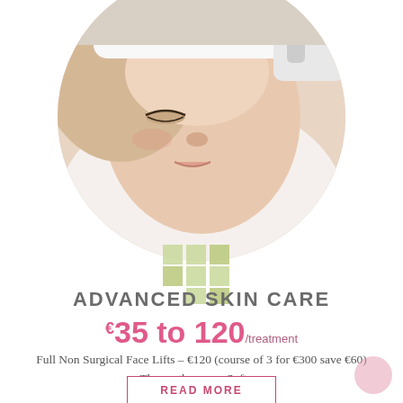[Figure (photo): Circular cropped photo of a woman lying down receiving a facial skin treatment, wearing a white headband and robe, with a gloved hand holding a device near her face.]
[Figure (logo): A 3x2 grid of green/sage colored squares forming a logo mark.]
ADVANCED SKIN CARE
€35 to 120/treatment
Full Non Surgical Face Lifts – €120 (course of 3 for €300 save €60) Thermotherapy – Softens
READ MORE